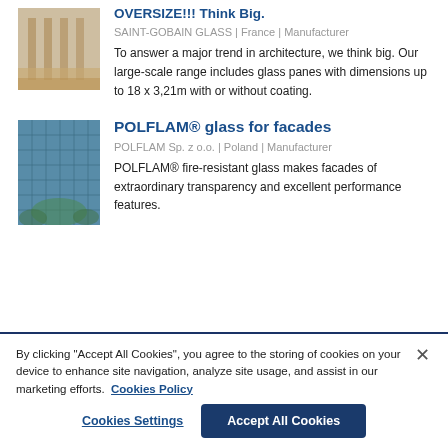[Figure (photo): Interior architectural photo showing columns and warm-toned flooring]
OVERSIZE!!! Think Big.
SAINT-GOBAIN GLASS | France | Manufacturer
To answer a major trend in architecture, we think big. Our large-scale range includes glass panes with dimensions up to 18 x 3,21m with or without coating.
[Figure (photo): Exterior architectural photo of a modern glass facade building with greenery]
POLFLAM® glass for facades
POLFLAM Sp. z o.o. | Poland | Manufacturer
POLFLAM® fire-resistant glass makes facades of extraordinary transparency and excellent performance features.
By clicking "Accept All Cookies", you agree to the storing of cookies on your device to enhance site navigation, analyze site usage, and assist in our marketing efforts.  Cookies Policy
Cookies Settings
Accept All Cookies